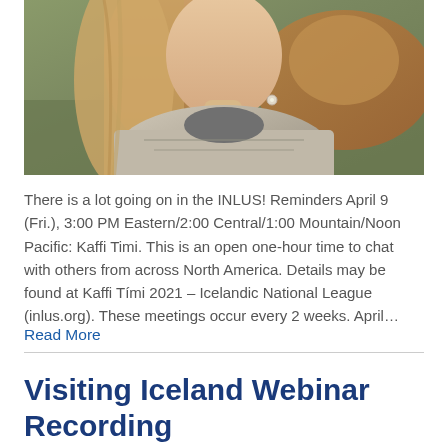[Figure (photo): A woman with long brown hair wearing a patterned knit sweater, photographed outdoors with a brown horse or animal in the background.]
There is a lot going on in the INLUS! Reminders April 9 (Fri.), 3:00 PM Eastern/2:00 Central/1:00 Mountain/Noon Pacific: Kaffi Timi.  This is an open one-hour time to chat with others from across North America.  Details may be found at Kaffi Tími 2021 – Icelandic National League (inlus.org). These meetings occur every 2 weeks. April…
Read More
Visiting Iceland Webinar Recording